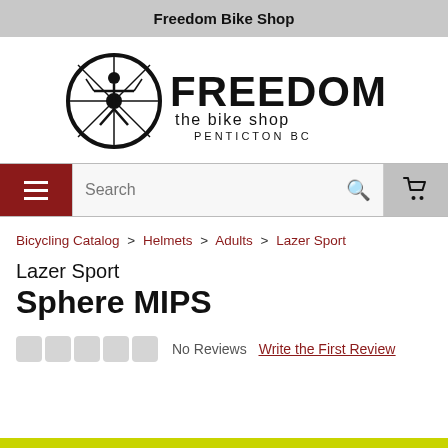Freedom Bike Shop
[Figure (logo): Freedom The Bike Shop Penticton BC logo with circular wheel icon and figure, bold FREEDOM text]
[Figure (screenshot): Navigation bar with red hamburger menu button, Search field with magnifying glass icon, and grey cart button]
Bicycling Catalog > Helmets > Adults > Lazer Sport
Lazer Sport Sphere MIPS
No Reviews  Write the First Review